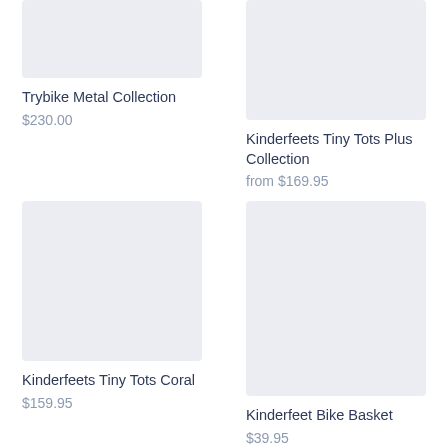[Figure (photo): Product image placeholder for Trybike Metal Collection, light gray rectangle]
Trybike Metal Collection
$230.00
[Figure (photo): Product image placeholder for Kinderfeets Tiny Tots Plus Collection, light gray rectangle]
Kinderfeets Tiny Tots Plus Collection
from $169.95
[Figure (photo): Product image placeholder for Kinderfeets Tiny Tots Coral, light gray rectangle]
Kinderfeets Tiny Tots Coral
$159.95
[Figure (photo): Product image placeholder for Kinderfeet Bike Basket, light gray rectangle]
Kinderfeet Bike Basket
$39.95